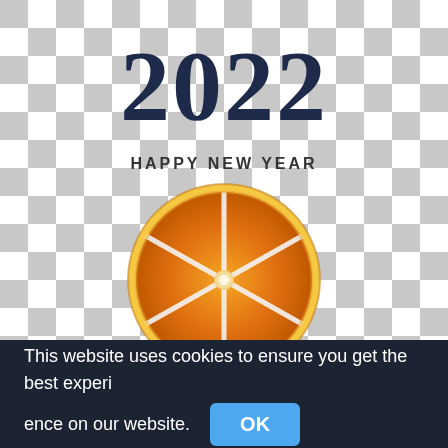[Figure (illustration): Checkered gray and white background with '2022 HAPPY NEW YEAR' text and a sliced orange in the center]
This website uses cookies to ensure you get the best experience on our website. OK